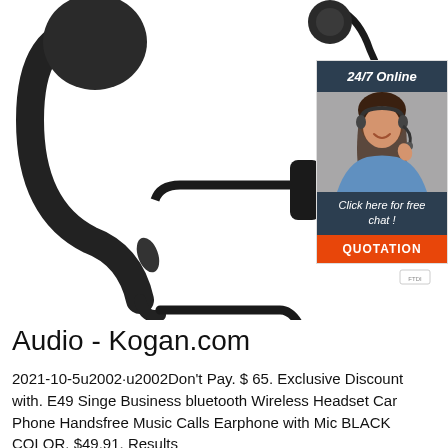[Figure (photo): Product photo of a wired earphone/headset with ear hook and microphone, shown on white background. Also contains an inset chat widget with a woman wearing a headset, labeled '24/7 Online', 'Click here for free chat!', and an orange QUOTATION button.]
Audio - Kogan.com
2021-10-5u2002·u2002Don't Pay. $ 65. Exclusive Discount with. E49 Singe Business bluetooth Wireless Headset Car Phone Handsfree Music Calls Earphone with Mic BLACK COLOR. $49.91. Results